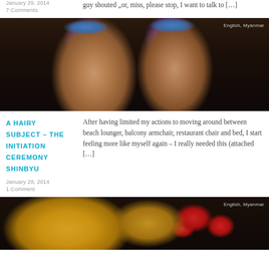January 29, 2014
7 Comments
guy shouted „or, miss, please stop, I want to talk to […]
[Figure (photo): Two children wearing traditional Burmese headdresses with blue and red beaded decorations, smiling at the camera. Tagged: English, Myanmar]
A HAIRY SUBJECT – THE INITIATION CEREMONY SHINBYU
After having limited my actions to moving around between beach lounger, balcony armchair, restaurant chair and bed, I start feeling more like myself again – I really needed this (attached […]
January 28, 2014
1 Comment
[Figure (photo): Close-up of golden Buddhist statue or decoration with red floral ornaments. Tagged: English, Myanmar]